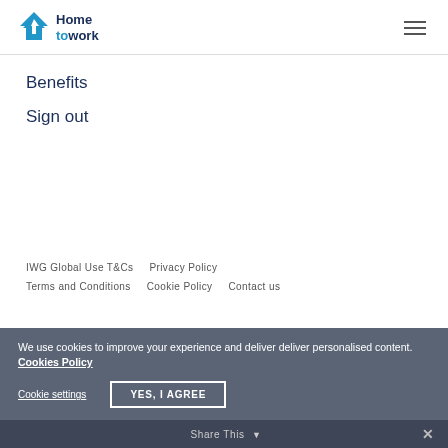[Figure (logo): Home to work logo: blue house icon with arrow, blue and dark navy text]
Benefits
Sign out
IWG Global Use T&Cs   Privacy Policy   Terms and Conditions   Cookie Policy   Contact us
We use cookies to improve your experience and deliver deliver personalised content. Cookies Policy
Cookie settings   YES, I AGREE
Share This ∨  ✕